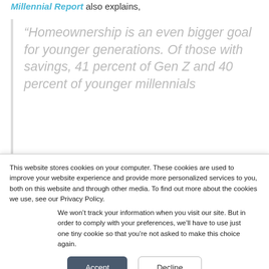Millennial Report also explains,
“Homeownership is an even bigger goal for younger generations. Of those with savings, 41 percent of Gen Z and 40 percent of younger millennials
This website stores cookies on your computer. These cookies are used to improve your website experience and provide more personalized services to you, both on this website and through other media. To find out more about the cookies we use, see our Privacy Policy.
We won’t track your information when you visit our site. But in order to comply with your preferences, we’ll have to use just one tiny cookie so that you’re not asked to make this choice again.
Accept
Decline